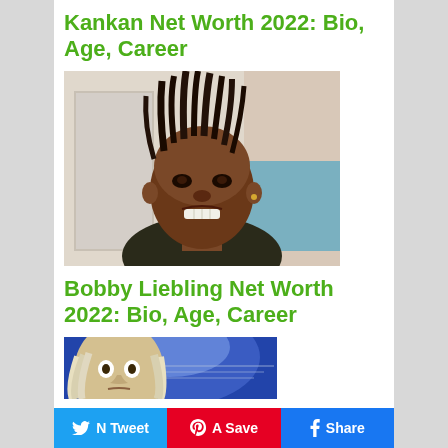Kankan Net Worth 2022: Bio, Age, Career
[Figure (photo): Photo of Kankan, a young Black man with dreadlocks, smiling/grimacing, wearing a dark top, indoor setting with white door in background]
Bobby Liebling Net Worth 2022: Bio, Age, Career
[Figure (photo): Photo of Bobby Liebling, an older white man with long blond/white hair, blue/glowing background]